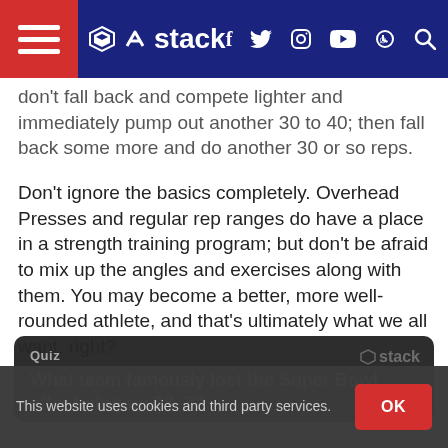stack
...don't fall back and compete lighter and immediately pump out another 30 to 40; then fall back some more and do another 30 or so reps.
Don't ignore the basics completely. Overhead Presses and regular rep ranges do have a place in a strength training program; but don't be afraid to mix up the angles and exercises along with them. You may become a better, more well-rounded athlete, and that's ultimately what we all want, right?
[Figure (other): Quiz card with Stack logo showing question: What team famously lost the Super Bowl after being up 28-3?]
This website uses cookies and third party services.